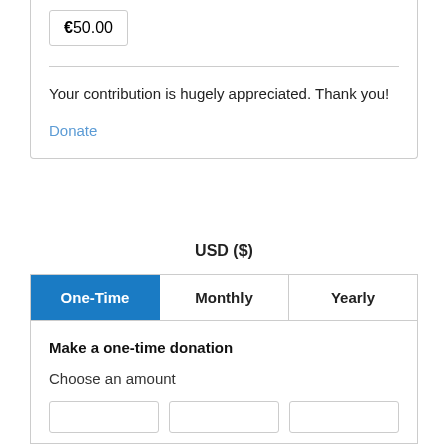€ 50.00
Your contribution is hugely appreciated. Thank you!
Donate
USD ($)
| One-Time | Monthly | Yearly |
| --- | --- | --- |
Make a one-time donation
Choose an amount